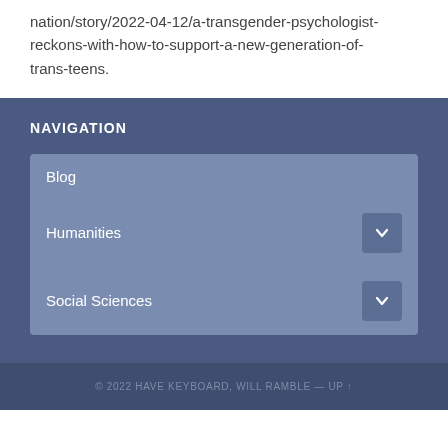nation/story/2022-04-12/a-transgender-psychologist-reckons-with-how-to-support-a-new-generation-of-trans-teens.
NAVIGATION
Blog
Humanities
Social Sciences
© 2022 HAVE KEYBOARD, WILL RAMBLE — UP ↑